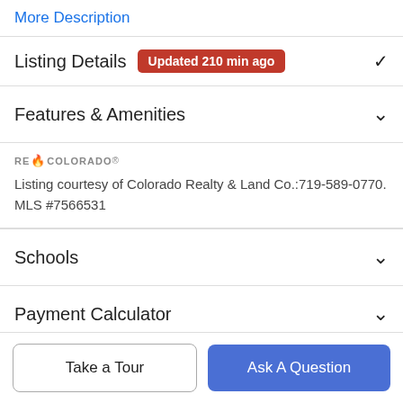More Description
Listing Details Updated 210 min ago
Features & Amenities
[Figure (logo): RE/Colorado logo with flame icon]
Listing courtesy of Colorado Realty & Land Co.:719-589-0770. MLS #7566531
Schools
Payment Calculator
Take a Tour
Ask A Question